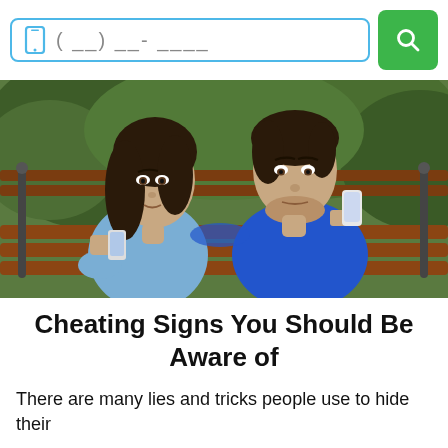[Figure (screenshot): Phone number search bar with a phone icon, placeholder text '( ) __-____', and a green search button with a magnifying glass icon]
[Figure (photo): A couple sitting on a park bench. The woman in a light blue blouse looks worried while glancing at the man's phone. The man in a blue t-shirt is focused on his smartphone. Green trees in background.]
Cheating Signs You Should Be Aware of
There are many lies and tricks people use to hide their